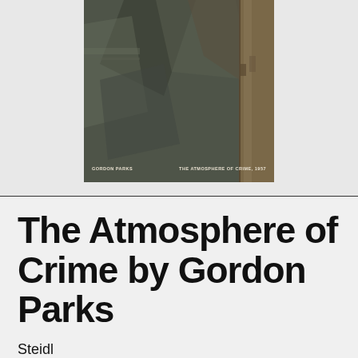[Figure (photo): Book cover of 'The Atmosphere of Crime, 1957' by Gordon Parks. Dark, muted tones with geometric shadows and architectural elements. Text at bottom reads 'GORDON PARKS' on the left and 'THE ATMOSPHERE OF CRIME, 1957' on the right.]
The Atmosphere of Crime by Gordon Parks
Steidl